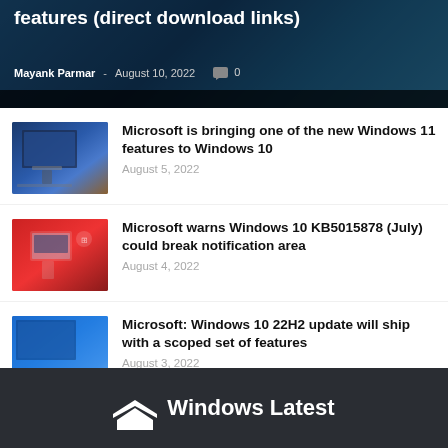[Figure (screenshot): Hero banner showing Windows article with dark blue background, title 'features (direct download links)', byline Mayank Parmar August 10 2022 with comment count 0, and taskbar at bottom]
[Figure (photo): Thumbnail of Windows 10 laptop device]
Microsoft is bringing one of the new Windows 11 features to Windows 10
August 5, 2022
[Figure (photo): Thumbnail of Windows 11 device on red background]
Microsoft warns Windows 10 KB5015878 (July) could break notification area
August 4, 2022
[Figure (photo): Thumbnail of Windows 10 blue desktop screen]
Microsoft: Windows 10 22H2 update will ship with a scoped set of features
August 3, 2022
Windows Latest